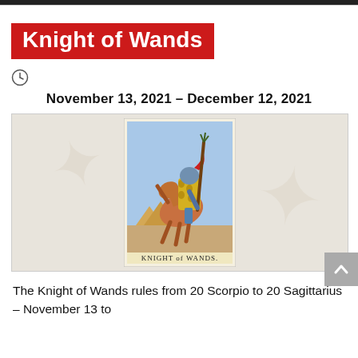Knight of Wands
November 13, 2021 – December 12, 2021
[Figure (illustration): Tarot card illustration: Knight of Wands showing a knight in yellow armor riding a rearing horse, holding a wand aloft, with pyramids in the background. Card label reads KNIGHT of WANDS.]
The Knight of Wands rules from 20 Scorpio to 20 Sagittarius – November 13 to